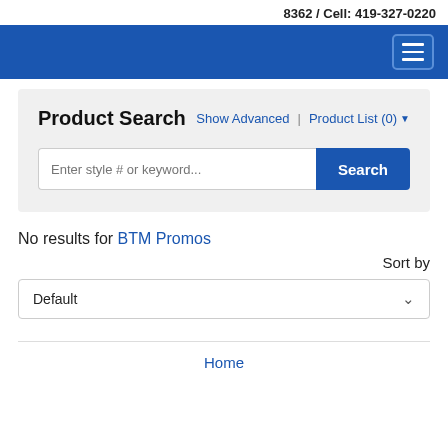8362 / Cell: 419-327-0220
[Figure (screenshot): Blue navigation bar with hamburger menu button (three horizontal lines) on the right side]
Product Search
Show Advanced | Product List (0)
[Figure (screenshot): Search input field with placeholder 'Enter style # or keyword...' and a blue Search button]
No results for BTM Promos
Sort by
Default
Home